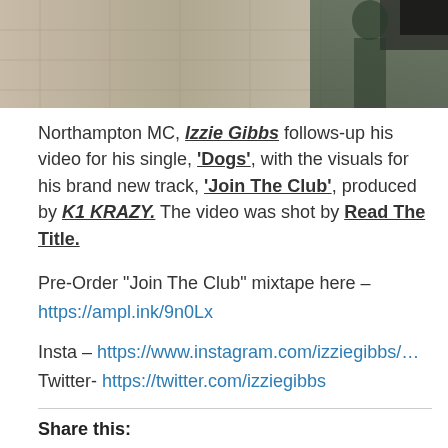[Figure (photo): Partial photo showing a person outdoors near a building, cropped at top of page]
Northampton MC, Izzie Gibbs follows-up his video for his single, 'Dogs', with the visuals for his brand new track, 'Join The Club', produced by K1 KRAZY. The video was shot by Read The Title.
Pre-Order "Join The Club" mixtape here – https://ampl.ink/9n0Lx
Insta – https://www.instagram.com/izziegibbs/…
Twitter- https://twitter.com/izziegibbs
Share this:
Facebook
Telegram
Twitter
Email